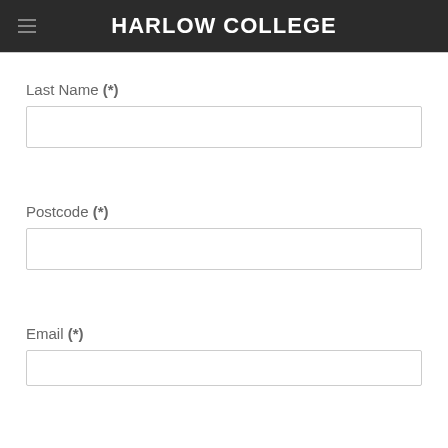HARLOW COLLEGE
Last Name (*)
Postcode (*)
Email (*)